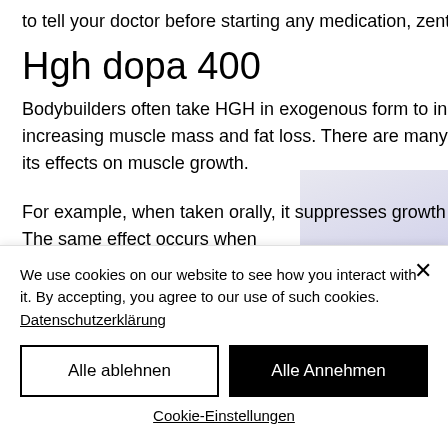to tell your doctor before starting any medication, zentech anadrol 50.
Hgh dopa 400
Bodybuilders often take HGH in exogenous form to increase HGH production, increasing muscle mass and fat loss. There are many benefits to exogenous HGH from its effects on muscle growth.
For example, when taken orally, it suppresses growth hormone and IGF-1 secretion. The same effect occurs when
[Figure (photo): Blurred purple/lavender decorative image on the right side of the page]
We use cookies on our website to see how you interact with it. By accepting, you agree to our use of such cookies. Datenschutzerklärung
Alle ablehnen
Alle Annehmen
Cookie-Einstellungen